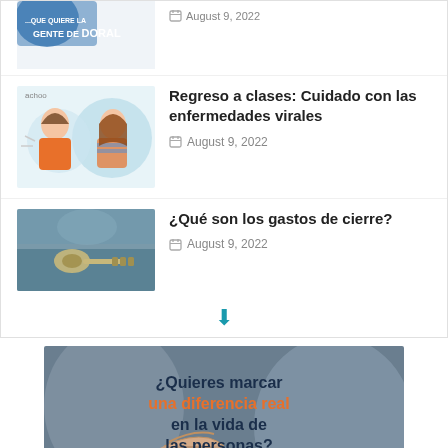[Figure (illustration): Top partial article thumbnail showing Doral logo with text '...QUE QUIERE LA GENTE DE DORAL']
August 9, 2022
[Figure (illustration): Cartoon children sneezing and coughing, illustration for viral diseases article]
Regreso a clases: Cuidado con las enfermedades virales
August 9, 2022
[Figure (photo): Keys on a surface, photo for closing costs article]
¿Qué son los gastos de cierre?
August 9, 2022
[Figure (illustration): AmeriLife advertisement banner showing a hand reaching for a handshake with text '¿Quieres marcar una diferencia real en la vida de las personas?' and AMERILIFE logo]